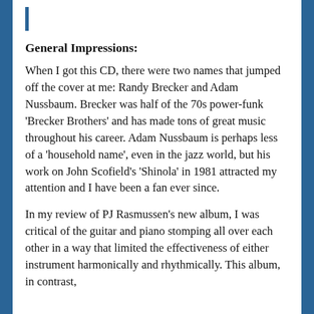General Impressions:
When I got this CD, there were two names that jumped off the cover at me: Randy Brecker and Adam Nussbaum. Brecker was half of the 70s power-funk ‘Brecker Brothers’ and has made tons of great music throughout his career. Adam Nussbaum is perhaps less of a ‘household name’, even in the jazz world, but his work on John Scofield’s ‘Shinola’ in 1981 attracted my attention and I have been a fan ever since.
In my review of PJ Rasmussen’s new album, I was critical of the guitar and piano stomping all over each other in a way that limited the effectiveness of either instrument harmonically and rhythmically. This album, in contrast, shows...